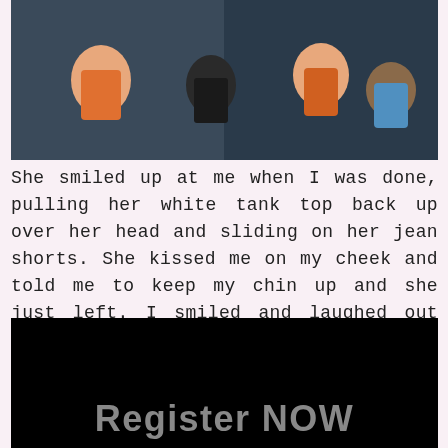[Figure (illustration): Cartoon/animated illustration showing characters in a dark-toned scene, partially visible at top of page.]
She smiled up at me when I was done, pulling her white tank top back up over her head and sliding on her jean shorts. She kissed me on my cheek and told me to keep my chin up and she just left. I smiled and laughed out loud.
Like this? Come and my membership for uncensored and even more erotic stories, pictures, and videos.
[Figure (other): Black banner with 'Register NOW' text partially visible at bottom of page.]